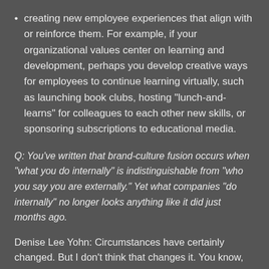creating new employee experiences that align with or reinforce them. For example, if your organizational values center on learning and development, perhaps you develop creative ways for employees to continue learning virtually, such as launching book clubs, hosting “lunch-and-learns” for colleagues to each other new skills, or sponsoring subscriptions to educational media.
Q: You’ve written that brand-culture fusion occurs when “what you do internally” is indistinguishable from “who you say you are externally.” Yet what companies “do internally” no longer looks anything like it did just months ago.
Denise Lee Yohn: Circumstances have certainly changed. But I don’t think that changes it. You know, because you still